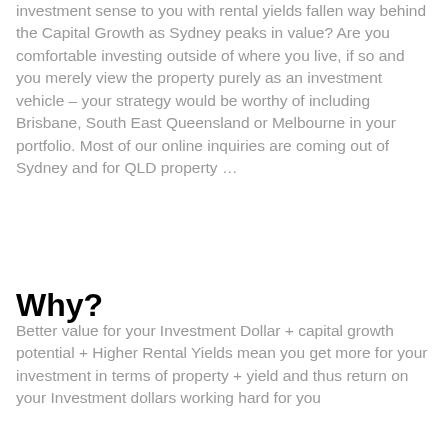investment sense to you with rental yields fallen way behind the Capital Growth as Sydney peaks in value? Are you comfortable investing outside of where you live, if so and you merely view the property purely as an investment vehicle – your strategy would be worthy of including Brisbane, South East Queensland or Melbourne in your portfolio. Most of our online inquiries are coming out of Sydney and for QLD property …
Why?
Better value for your Investment Dollar + capital growth potential + Higher Rental Yields mean you get more for your investment in terms of property + yield and thus return on your Investment dollars working hard for you